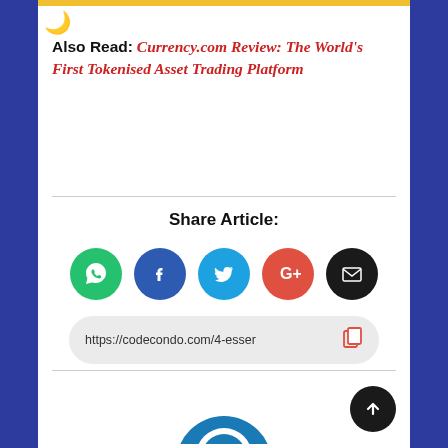Also Read: Currency.com Review: The World's First Tokenised Asset Trading Platform
Share Article:
[Figure (infographic): Row of five social share icon buttons: WhatsApp (green), Facebook (blue), Twitter (light blue), Google+ (red-orange), Email (black)]
https://codecondo.com/4-esser
[Figure (illustration): Partial circular avatar/logo at bottom center, teal/blue coloring]